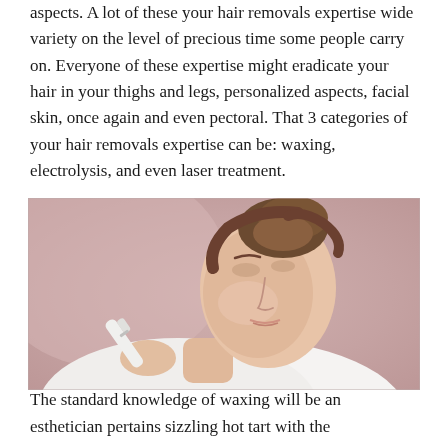aspects. A lot of these your hair removals expertise wide variety on the level of precious time some people carry on. Everyone of these expertise might eradicate your hair in your thighs and legs, personalized aspects, facial skin, once again and even pectoral. That 3 categories of your hair removals expertise can be: waxing, electrolysis, and even laser treatment.
[Figure (photo): A woman holding a facial hair removal device (epilator/trimmer) near her upper lip against a mauve/pink background, wearing a white top with her hair up.]
The standard knowledge of waxing will be an esthetician pertains sizzling hot tart with the